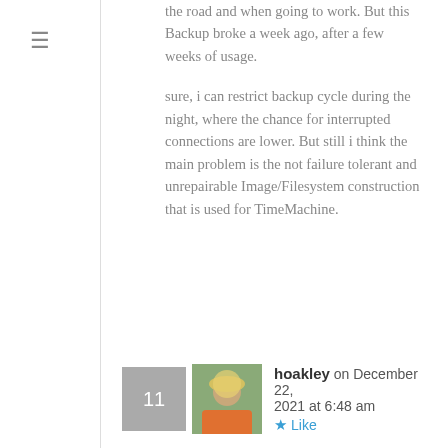the road and when going to work. But this Backup broke a week ago, after a few weeks of usage.

sure, i can restrict backup cycle during the night, where the chance for interrupted connections are lower. But still i think the main problem is the not failure tolerant and unrepairable Image/Filesystem construction that is used for TimeMachine.
hoakley on December 22, 2021 at 6:48 am
Like